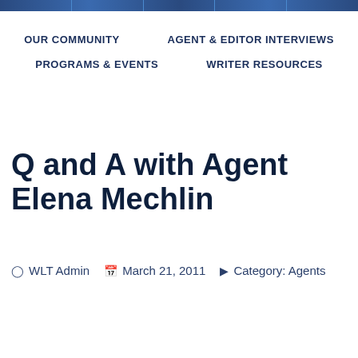OUR COMMUNITY | AGENT & EDITOR INTERVIEWS | PROGRAMS & EVENTS | WRITER RESOURCES
Q and A with Agent Elena Mechlin
WLT Admin  March 21, 2011  Category: Agents